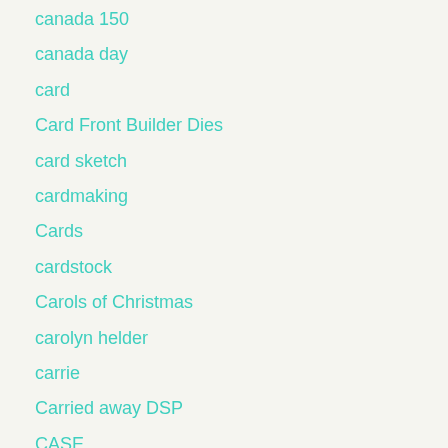canada 150
canada day
card
Card Front Builder Dies
card sketch
cardmaking
Cards
cardstock
Carols of Christmas
carolyn helder
carrie
Carried away DSP
CASE
cats